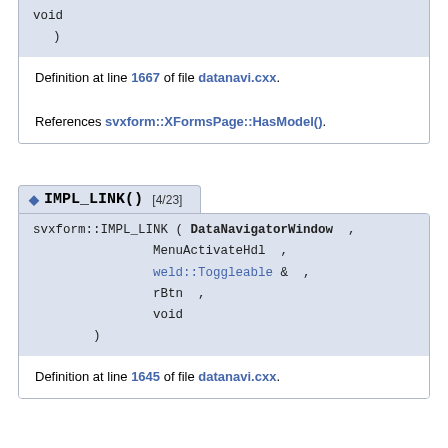void
)
Definition at line 1667 of file datanavi.cxx.
References svxform::XFormsPage::HasModel().
◆ IMPL_LINK() [4/23]
svxform::IMPL_LINK ( DataNavigatorWindow ,
    MenuActivateHdl ,
    weld::Toggleable & ,
    rBtn ,
    void
  )
Definition at line 1645 of file datanavi.cxx.